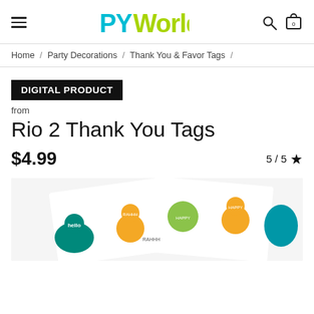PY World — navigation header with hamburger menu, logo, search and cart icons
Home / Party Decorations / Thank You & Favor Tags /
DIGITAL PRODUCT
from
Rio 2 Thank You Tags
$4.99
5 / 5 ★
[Figure (photo): Product photo showing Rio 2 themed thank you tags with cartoon bird characters in teal, green and orange colors on a white background, partially rolled/folded]